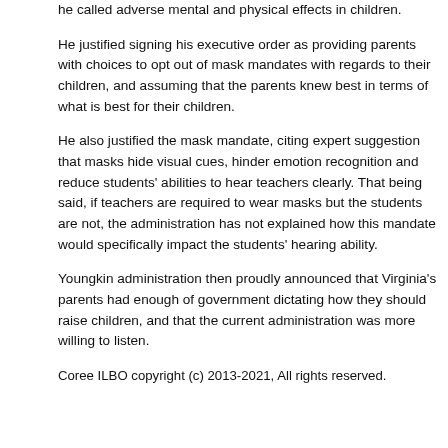he called adverse mental and physical effects in children.
He justified signing his executive order as providing parents with choices to opt out of mask mandates with regards to their children, and assuming that the parents knew best in terms of what is best for their children.
He also justified the mask mandate, citing expert suggestion that masks hide visual cues, hinder emotion recognition and reduce students' abilities to hear teachers clearly. That being said, if teachers are required to wear masks but the students are not, the administration has not explained how this mandate would specifically impact the students' hearing ability.
Youngkin administration then proudly announced that Virginia's parents had enough of government dictating how they should raise children, and that the current administration was more willing to listen.
Coree ILBO copyright (c) 2013-2021, All rights reserved.